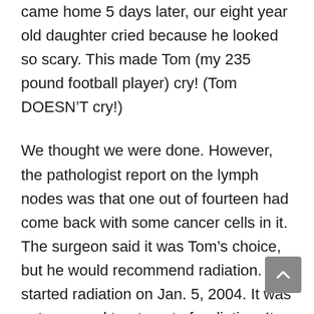came home 5 days later, our eight year old daughter cried because he looked so scary. This made Tom (my 235 pound football player) cry! (Tom DOESN'T cry!)
We thought we were done. However, the pathologist report on the lymph nodes was that one out of fourteen had come back with some cancer cells in it. The surgeon said it was Tom's choice, but he would recommend radiation. He started radiation on Jan. 5, 2004. It was not a normal treatment of radiation. It was a newer type that would do less damage to surrounding tissue, but instead of being radiated for a couple